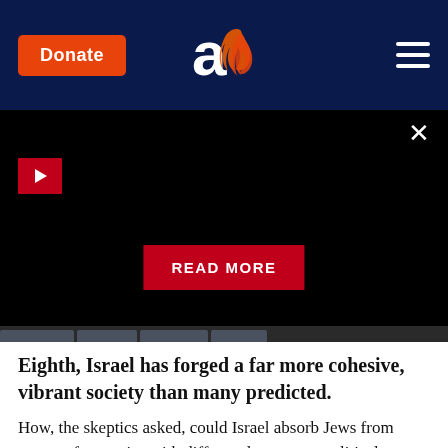Donate | [Aish logo] | [Menu]
[Figure (screenshot): Black video player area with red play button in top-left, X close button in top-right, and a red READ MORE button centered near the bottom]
Eighth, Israel has forged a far more cohesive, vibrant society than many predicted.
How, the skeptics asked, could Israel absorb Jews from scores of countries with different languages, political traditions, cultural norms, and religious practices? How could Israel forge a democratic state when so many refugees came from non-democratic Arab lands and communist societies -- and in a region, the Middle East, where there was absolutely no tradition of free, open